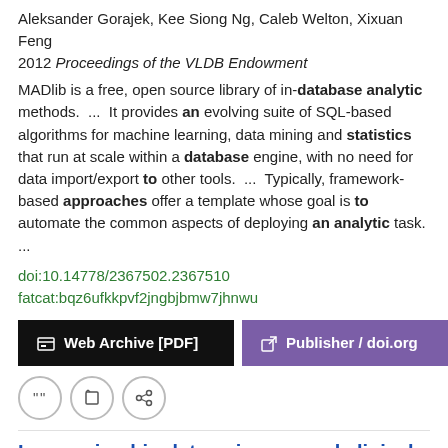Aleksander Gorajek, Kee Siong Ng, Caleb Welton, Xixuan Feng
2012 Proceedings of the VLDB Endowment
MADlib is a free, open source library of in-database analytic methods.  ...  It provides an evolving suite of SQL-based algorithms for machine learning, data mining and statistics that run at scale within a database engine, with no need for data import/export to other tools.  ...  Typically, framework-based approaches offer a template whose goal is to automate the common aspects of deploying an analytic task.  ...
doi:10.14778/2367502.2367510
fatcat:bqz6ufkkpvf2jngbjbmw7jhnwu
[Figure (other): Web Archive [PDF] and Publisher / doi.org buttons]
[Figure (other): Action icons: cite, edit, link]
Leveraging big data using a novel clinical database and analytic platform based on 323,145 individuals with and without of Diabetes
Anjana Ranjit Mohan, Praveen Raj, Jebarani Saravanan, Srinivasan Vedantham, Radha Venkatesan, Muthu Narayanan, Pradeena Rajendra, Ranjit Unnikrishnan, Somasekhar, Jayaram